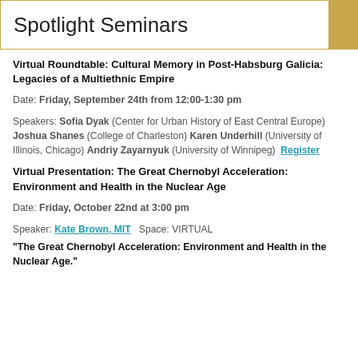Spotlight Seminars
Virtual Roundtable: Cultural Memory in Post-Habsburg Galicia: Legacies of a Multiethnic Empire
Date: Friday, September 24th from 12:00-1:30 pm
Speakers: Sofia Dyak (Center for Urban History of East Central Europe) Joshua Shanes (College of Charleston) Karen Underhill (University of Illinois, Chicago) Andriy Zayarnyuk (University of Winnipeg)  Register
Virtual Presentation: The Great Chernobyl Acceleration: Environment and Health in the Nuclear Age
Date: Friday, October 22nd at 3:00 pm
Speaker: Kate Brown, MIT  Space: VIRTUAL
"The Great Chernobyl Acceleration: Environment and Health in the Nuclear Age."